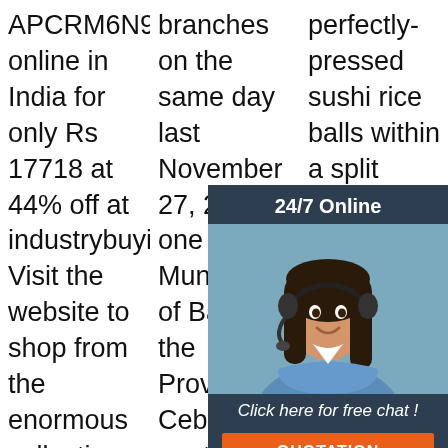APCRM6N9FC online in India for only Rs 17718 at 44% off at industrybuying.com. Visit the website to shop from the enormous collection of AgriPro Grain Processing Machine. Wholesale Price FREE Shipping*
branches on the same day last November 27, 2020—one in the Municipality of Barili in the Province of Cebu, and another in the City of Lamitan in the Province of Basilan. The state-run Bank now has a total of 414 branches and
perfectly-pressed sushi rice balls within a split second. The trademarked rice ball former sets a new standard, as it surpasses dozens of every other rice when forming and brings efficiency to a whole new
[Figure (other): Customer service chat popup overlay showing a woman with headset, '24/7 Online' header, 'Click here for free chat!' text, and 'QUOTATION' orange button]